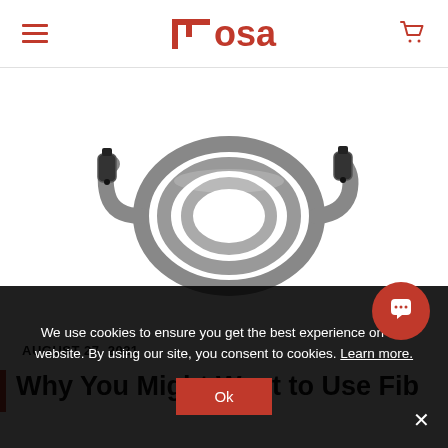Hosa — navigation header with hamburger menu and cart
[Figure (photo): Coiled optical/TOSLINK audio cable with black connectors on a white background]
AUGUST 27, 2021
Why You Might Want to Use Fib…
We use cookies to ensure you get the best experience on our website. By using our site, you consent to cookies. Learn more.